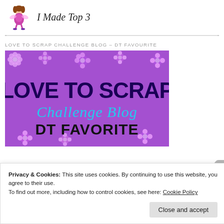[Figure (illustration): Cartoon fairy/pixie character in pink and purple dress]
I Made Top 3
LOVE TO SCRAP CHALLENGE BLOG – DT FAVOURITE
[Figure (photo): Purple flowery background banner reading LOVE TO SCRAP Challenge Blog DT FAVORITE]
Privacy & Cookies: This site uses cookies. By continuing to use this website, you agree to their use.
To find out more, including how to control cookies, see here: Cookie Policy
Close and accept